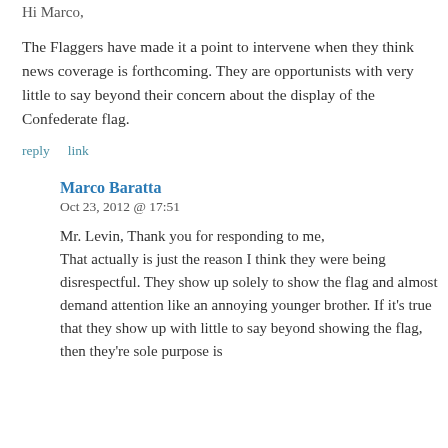Hi Marco,
The Flaggers have made it a point to intervene when they think news coverage is forthcoming. They are opportunists with very little to say beyond their concern about the display of the Confederate flag.
reply    link
Marco Baratta
Oct 23, 2012 @ 17:51
Mr. Levin, Thank you for responding to me, That actually is just the reason I think they were being disrespectful. They show up solely to show the flag and almost demand attention like an annoying younger brother. If it’s true that they show up with little to say beyond showing the flag, then they’re sole purpose is